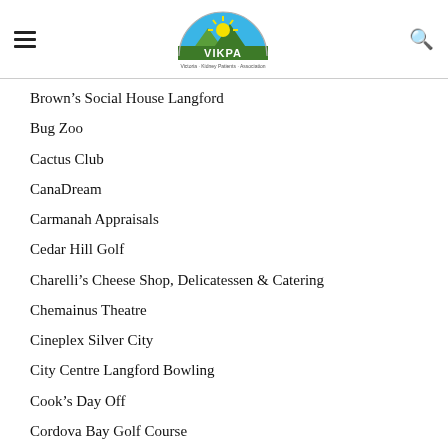VIKPA logo, hamburger menu, search icon
Brown’s Social House Langford
Bug Zoo
Cactus Club
CanaDream
Carmanah Appraisals
Cedar Hill Golf
Charelli’s Cheese Shop, Delicatessen & Catering
Chemainus Theatre
Cineplex Silver City
City Centre Langford Bowling
Cook’s Day Off
Cordova Bay Golf Course
Craigdarroch Castle
Crystal Lodge Whistler